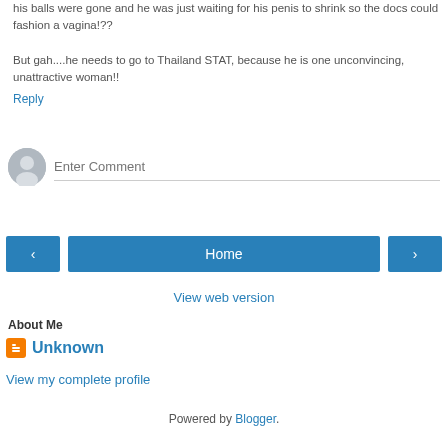his balls were gone and he was just waiting for his penis to shrink so the docs could fashion a vagina!??

But gah....he needs to go to Thailand STAT, because he is one unconvincing, unattractive woman!!
Reply
[Figure (other): Comment input area with user avatar placeholder and 'Enter Comment' text field]
[Figure (other): Navigation buttons: left arrow, Home, right arrow]
View web version
About Me
Unknown
View my complete profile
Powered by Blogger.